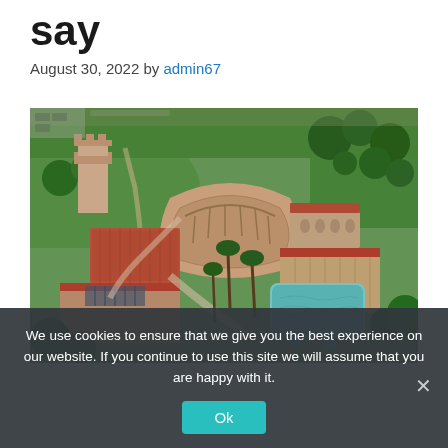say
August 30, 2022 by admin67
[Figure (photo): Aerial view of Mar-a-Lago estate showing Spanish-style architecture with red-tile roofs, a circular courtyard, palm trees, green lawn, and a large swimming pool]
We use cookies to ensure that we give you the best experience on our website. If you continue to use this site we will assume that you are happy with it.